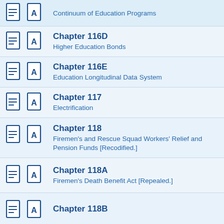Continuum of Education Programs
Chapter 116D - Higher Education Bonds
Chapter 116E - Education Longitudinal Data System
Chapter 117 - Electrification
Chapter 118 - Firemen's and Rescue Squad Workers' Relief and Pension Funds [Recodified.]
Chapter 118A - Firemen's Death Benefit Act [Repealed.]
Chapter 118B